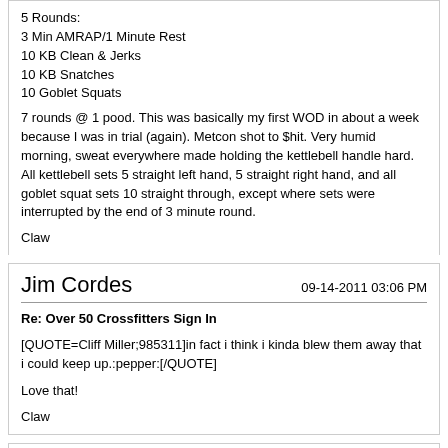5 Rounds:
3 Min AMRAP/1 Minute Rest
10 KB Clean & Jerks
10 KB Snatches
10 Goblet Squats
7 rounds @ 1 pood. This was basically my first WOD in about a week because I was in trial (again). Metcon shot to $hit. Very humid morning, sweat everywhere made holding the kettlebell handle hard. All kettlebell sets 5 straight left hand, 5 straight right hand, and all goblet squat sets 10 straight through, except where sets were interrupted by the end of 3 minute round.
Claw
Jim Cordes
09-14-2011 03:06 PM
Re: Over 50 Crossfitters Sign In
[QUOTE=Cliff Miller;985311]in fact i think i kinda blew them away that i could keep up.:pepper:[/QUOTE]
Love that!
Claw
Barry Dean Freedman